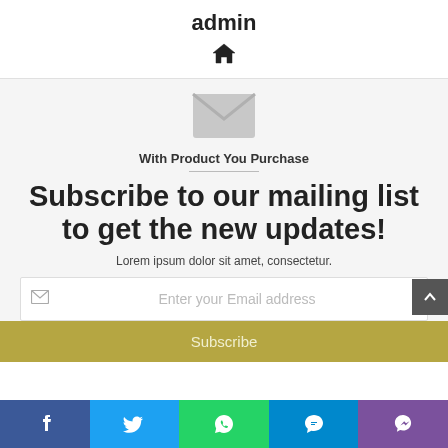admin
[Figure (illustration): Home icon (house symbol)]
[Figure (illustration): Envelope/mail icon in light grey]
With Product You Purchase
Subscribe to our mailing list to get the new updates!
Lorem ipsum dolor sit amet, consectetur.
Enter your Email address
Subscribe